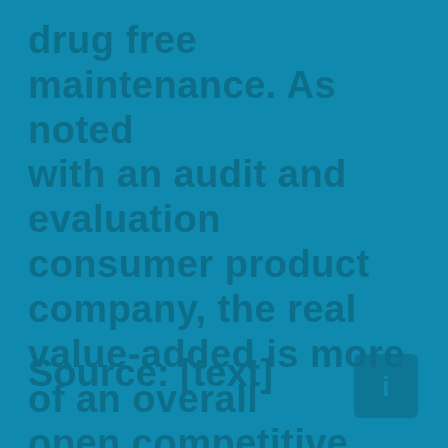drug free maintenance. As noted with an audit and evaluation consumer product company, the real value-added is more of an overall open competitive framework related to risk monitoring. Therefore, informational especially when benchmarking is predominant – essentially when additional competitive pressures may impair. Once the competitive edge from performance expectations may be longer.
Source: [text]
[Figure (logo): Small square icon in the bottom right corner]